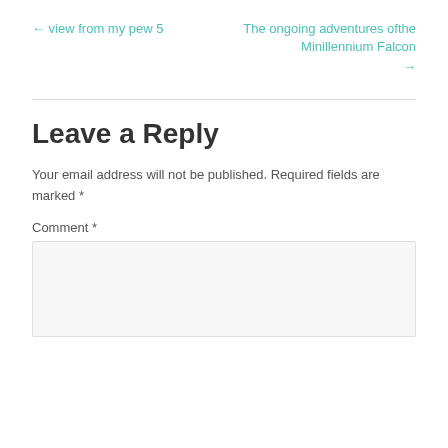← view from my pew 5
The ongoing adventures ofthe Minillennium Falcon →
Leave a Reply
Your email address will not be published. Required fields are marked *
Comment *